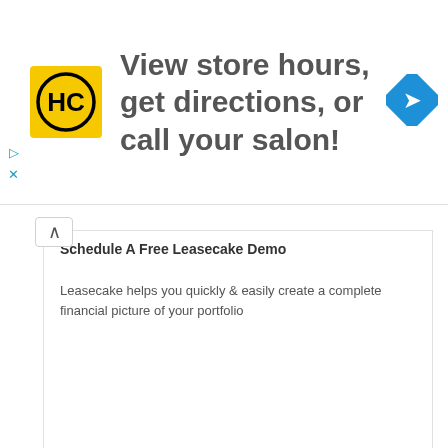[Figure (infographic): Advertisement banner with HC (Haircut) logo on yellow background, text 'View store hours, get directions, or call your salon!' and a blue diamond navigation icon]
Schedule A Free Leasecake Demo
Leasecake helps you quickly & easily create a complete financial picture of your portfolio
Leasecake
Book Now
Related
[Figure (illustration): Row of message/email app icons and a group of message icons]